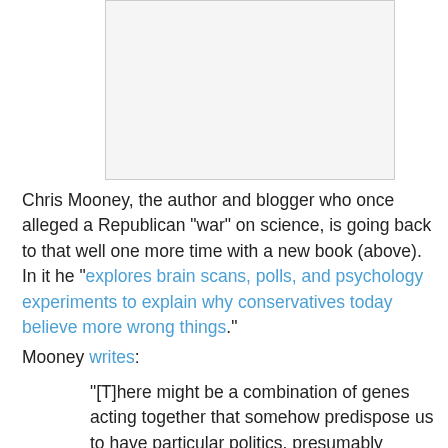[Figure (photo): Book cover image placeholder, white/light gray rectangle with border]
Chris Mooney, the author and blogger who once alleged a Republican "war" on science, is going back to that well one more time with a new book (above). In it he "explores brain scans, polls, and psychology experiments to explain why conservatives today believe more wrong things."
Mooney writes:
"[T]here might be a combination of genes acting together that somehow predispose us to have particular politics, presumably through their role in influencing our brains and thus our personalities or social behaviors ..."